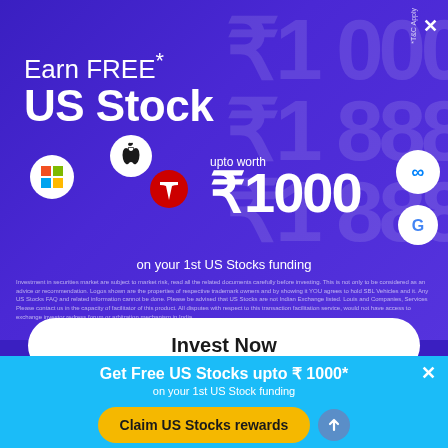[Figure (infographic): Purple advertisement banner for earning free US stocks up to ₹1000 on first US stocks funding. Shows stock icons for Microsoft, Apple, Tesla, Meta, Google. Large rupee watermarks in background.]
Earn FREE* US Stock
upto worth ₹1000
on your 1st US Stocks funding
Investment in securities market are subject to market risk, read all the related documents carefully before investing. This is not only to be considered as an advice or recommendation. Logos shown are the properties of respective trademark owners and by showing it YOU agrees to hold SBL Vehicles and it. Any US Stocks FAQ and related information cannot be done. Please be advised that US Stocks are not Indian Exchange listed. Louis and Companies, Services Please contact us in the capacity of facilitator of this product. All disputes with respect to this transaction facilitation service, would not have access to exchange investor redress forum or arbitration mechanism in India.
Invest Now
Limited  |  Aditya Birla Sun Life AMC Ltd  |  Kotak Mahindra
Get Free US Stocks upto ₹ 1000*
on your 1st US Stock funding
Claim US Stocks rewards